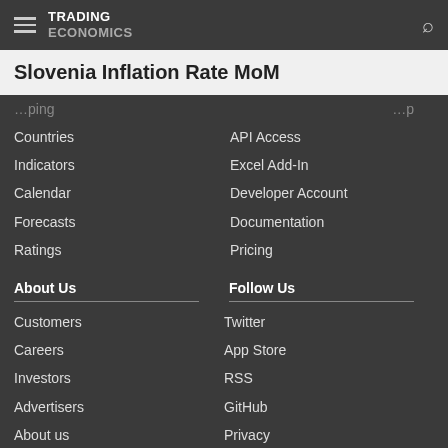TRADING ECONOMICS
Slovenia Inflation Rate MoM
Countries
Indicators
Calendar
Forecasts
Ratings
API Access
Excel Add-In
Developer Account
Documentation
Pricing
About Us
Follow Us
Customers
Careers
Investors
Advertisers
About us
Twitter
App Store
RSS
GitHub
Privacy
Copyright ©2022 TRADING ECONOMICS
All Rights Reserved